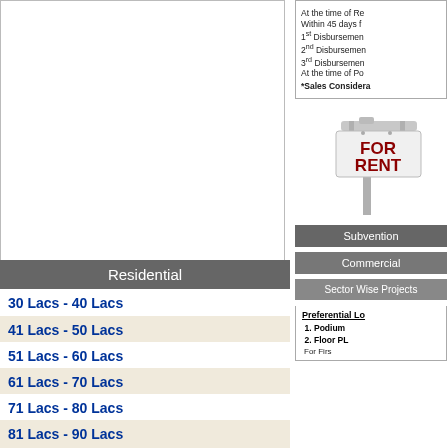[Figure (other): White empty box area (top of left column), bordered]
Residential
30 Lacs - 40 Lacs
41 Lacs - 50 Lacs
51 Lacs - 60 Lacs
61 Lacs - 70 Lacs
71 Lacs - 80 Lacs
81 Lacs - 90 Lacs
91 Lacs - 1 Cr
1 Cr - 1.10 Cr
1.11 Cr - 1.20 Cr
At the time of Re... Within 45 days f... 1st Disbursemen... 2nd Disbursemen... 3rd Disbursemen... At the time of Po... *Sales Considera...
[Figure (illustration): For Rent sign illustration with post]
Subvention
Commercial
Sector Wise Projects
Preferential Location
1. Podium
2. Floor PL...
For First...